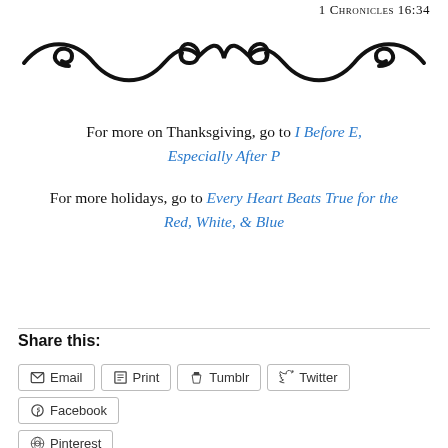1 Chronicles 16:34
[Figure (illustration): Decorative ornamental flourish divider with swirls and curls in black]
For more on Thanksgiving, go to I Before E, Especially After P
For more holidays, go to Every Heart Beats True for the Red, White, & Blue
Share this:
Email  Print  Tumblr  Twitter  Facebook  Pinterest